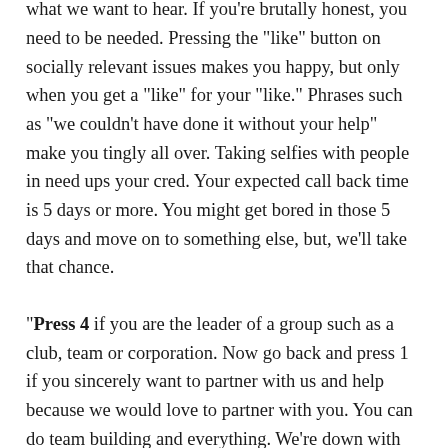"Press 3 if you are saying you want to help because you think our volunteers are all nicey-nice and that's what we want to hear. If you're brutally honest, you need to be needed. Pressing the “like” button on socially relevant issues makes you happy, but only when you get a “like” for your “like.” Phrases such as “we couldn’t have done it without your help” make you tingly all over. Taking selfies with people in need ups your cred. Your expected call back time is 5 days or more. You might get bored in those 5 days and move on to something else, but, we’ll take that chance.
"Press 4 if you are the leader of a group such as a club, team or corporation. Now go back and press 1 if you sincerely want to partner with us and help because we would love to partner with you. You can do team building and everything. We’re down with